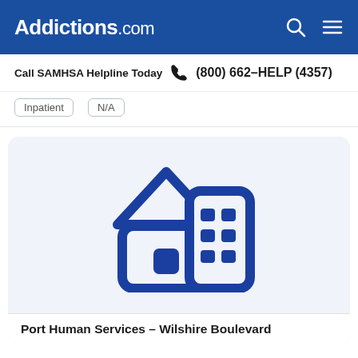Addictions.com
Call SAMHSA Helpline Today  (800) 662-HELP (4357)
| Type | Status |
| --- | --- |
| Inpatient | N/A |
[Figure (illustration): Icon of a house and multi-story building in dark blue, representing residential/inpatient facility]
Port Human Services – Wilshire Boulevard